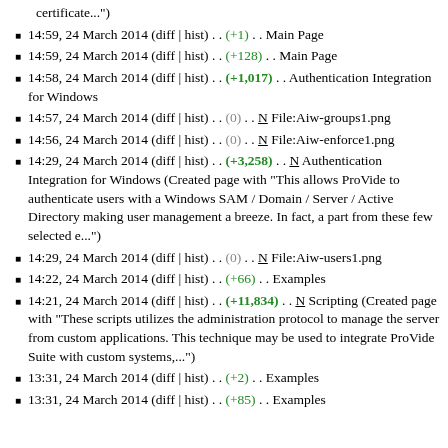certificate...")
14:59, 24 March 2014 (diff | hist) . . (+1) . . Main Page
14:59, 24 March 2014 (diff | hist) . . (+128) . . Main Page
14:58, 24 March 2014 (diff | hist) . . (+1,017) . . Authentication Integration for Windows
14:57, 24 March 2014 (diff | hist) . . (0) . . N File:Aiw-groups1.png
14:56, 24 March 2014 (diff | hist) . . (0) . . N File:Aiw-enforce1.png
14:29, 24 March 2014 (diff | hist) . . (+3,258) . . N Authentication Integration for Windows (Created page with "This allows ProVide to authenticate users with a Windows SAM / Domain / Server / Active Directory making user management a breeze. In fact, a part from these few selected e...")
14:29, 24 March 2014 (diff | hist) . . (0) . . N File:Aiw-users1.png
14:22, 24 March 2014 (diff | hist) . . (+66) . . Examples
14:21, 24 March 2014 (diff | hist) . . (+11,834) . . N Scripting (Created page with "These scripts utilizes the administration protocol to manage the server from custom applications. This technique may be used to integrate ProVide Suite with custom systems,..?")
13:31, 24 March 2014 (diff | hist) . . (+2) . . Examples
13:31, 24 March 2014 (diff | hist) . . (+85) . . Examples